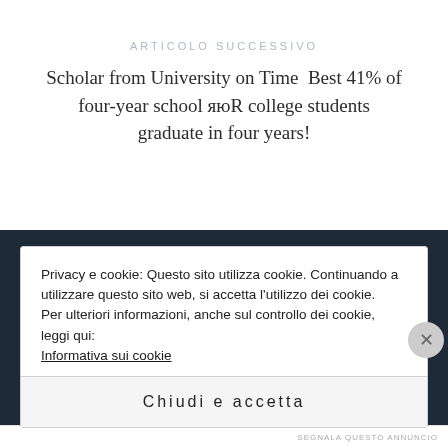ARTICOLO SUCCESSIVO
Scholar from University on Time  Best 41% of four-year school яюR college students graduate in four years!
Privacy e cookie: Questo sito utilizza cookie. Continuando a utilizzare questo sito web, si accetta l'utilizzo dei cookie.
Per ulteriori informazioni, anche sul controllo dei cookie, leggi qui: Informativa sui cookie
Chiudi e accetta